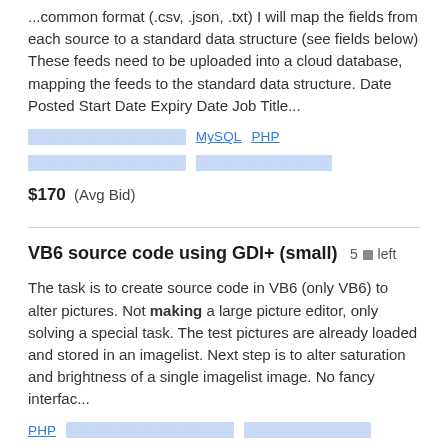...common format (.csv, .json, .txt) I will map the fields from each source to a standard data structure (see fields below) These feeds need to be uploaded into a cloud database, mapping the feeds to the standard data structure. Date Posted Start Date Expiry Date Job Title...
[tags] MySQL PHP [tags] [tags]
$170  (Avg Bid)
VB6 source code using GDI+ (small)  5 left
The task is to create source code in VB6 (only VB6) to alter pictures. Not making a large picture editor, only solving a special task. The test pictures are already loaded and stored in an imagelist. Next step is to alter saturation and brightness of a single imagelist image. No fancy interfac...
PHP [tags] [tags]
$143  (Avg Bid)